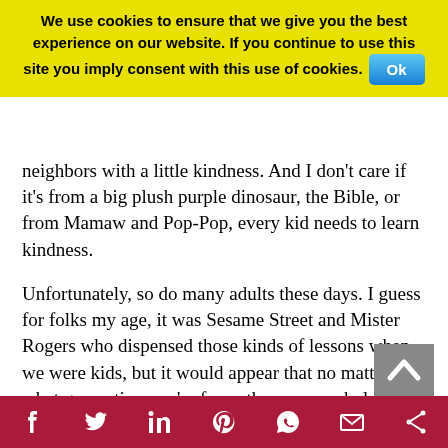We use cookies to ensure that we give you the best experience on our website. If you continue to use this site you imply consent with this use of cookies. Ok
neighbors with a little kindness. And I don't care if it's from a big plush purple dinosaur, the Bible, or from Mamaw and Pop-Pop, every kid needs to learn kindness.
Unfortunately, so do many adults these days. I guess for folks my age, it was Sesame Street and Mister Rogers who dispensed those kinds of lessons when we were kids, but it would appear that no matter what generation you're from, there are a whole lot of folks who either didn't tune in on the days those lessons were taught or they've simply forgotten how to apply them.
Yes, our society is lacking many things these days, but it's not toilet paper or gasoline or some other material good that's most lacking. No, today's greatest scarcity is kindness. There's a virtual drought of it. No matter where you turn, there's someone being unkind to someone else, often for the dumbest reasons … or worse yet, for no reason at all.
[Figure (other): Social media share bar at bottom with icons for Facebook, Twitter, LinkedIn, Pinterest, WhatsApp, Email, and Share]